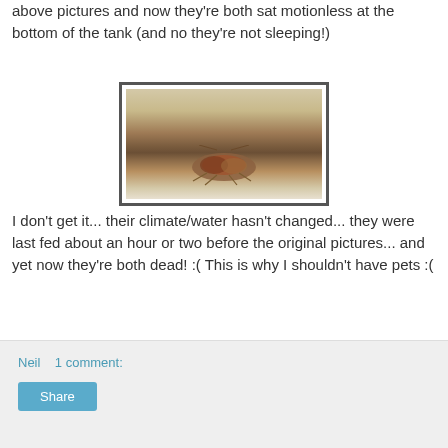above pictures and now they're both sat motionless at the bottom of the tank (and no they're not sleeping!)
[Figure (photo): Close-up photo of a small aquatic creature (appears to be a triop or similar crustacean) sitting at the bottom of a tank, viewed through the curved glass. The animal appears motionless on a sandy/beige substrate.]
I don't get it... their climate/water hasn't changed... they were last fed about an hour or two before the original pictures... and yet now they're both dead! :( This is why I shouldn't have pets :(
Neil   1 comment:
Share